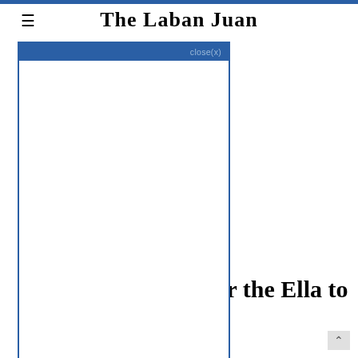The Laban Juan
[Figure (screenshot): Advertisement box with dark blue header bar showing 'close(x)' button and white content area below]
their guest house or homestay, which is a great option for authentic Sri Lankan food. Let them know in advance if you want to eat.
How to get tickets for the Ella to Kandy train?